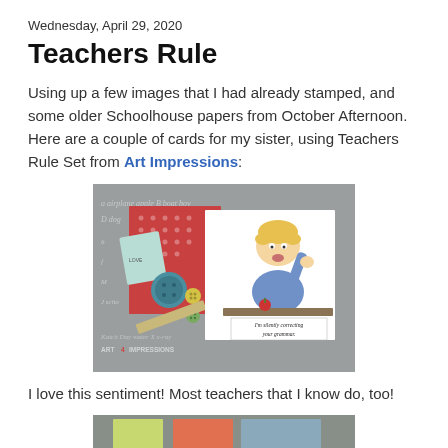Wednesday, April 29, 2020
Teachers Rule
Using up a few images that I had already stamped, and some older Schoolhouse papers from October Afternoon. Here are a couple of cards for my sister, using Teachers Rule Set from Art Impressions:
[Figure (photo): A handmade greeting card featuring a cartoon teacher character sitting at a desk with the sentiment 'I'm silently correcting your grammar.' The card is decorated with schoolhouse-themed patterned paper in gray with cursive writing, red dotted paper, buttons, and a ruler. Watermark reads 'Katch Day ART4IMPRESSIONS'.]
I love this sentiment!  Most teachers that I know do, too!
[Figure (photo): Partial view of a second handmade card, cropped at bottom of page.]